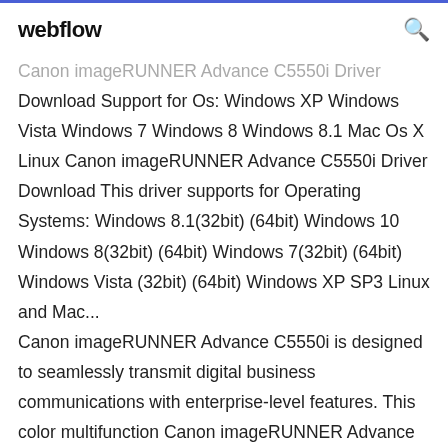webflow
Canon imageRUNNER Advance C5550i Driver Download Support for Os: Windows XP Windows Vista Windows 7 Windows 8 Windows 8.1 Mac Os X Linux Canon imageRUNNER Advance C5550i Driver Download This driver supports for Operating Systems: Windows 8.1(32bit) (64bit) Windows 10 Windows 8(32bit) (64bit) Windows 7(32bit) (64bit) Windows Vista (32bit) (64bit) Windows XP SP3 Linux and Mac... Canon imageRUNNER Advance C5550i is designed to seamlessly transmit digital business communications with enterprise-level features. This color multifunction Canon imageRUNNER Advance C5500 Driver Download imageRUNNER Advance C5550i This